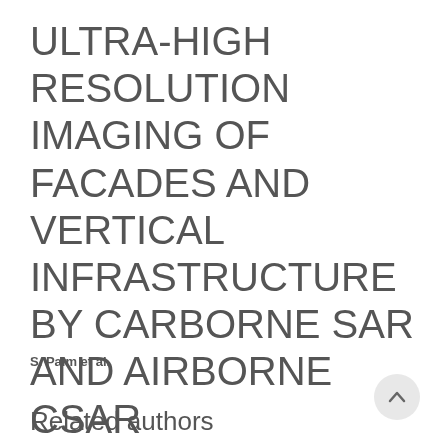ULTRA-HIGH RESOLUTION IMAGING OF FACADES AND VERTICAL INFRASTRUCTURE BY CARBORNE SAR AND AIRBORNE CSAR
S. Palm et al.
Related authors